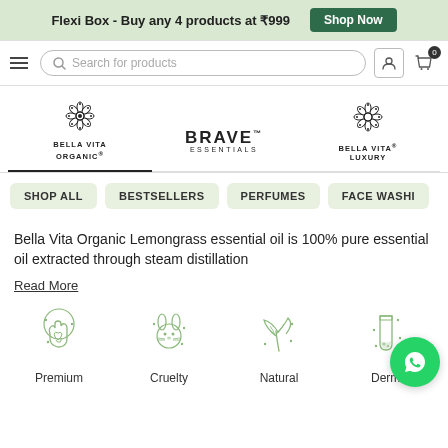Flexi Box - Buy any 4 products at ₹999  Shop Now
[Figure (screenshot): Navigation bar with hamburger menu, search box, account icon, and cart icon showing 0 items]
[Figure (logo): Three brand tabs: Bella Vita Organic (active/selected), Brave Essentials, Bella Vita Luxury]
[Figure (infographic): Category pills: SHOP ALL, BESTSELLERS, PERFUMES, FACE WASHI(NG)]
Bella Vita Organic Lemongrass essential oil is 100% pure essential oil extracted through steam distillation
Read More
[Figure (infographic): Four feature icons: Premium (hand with heart), Cruelty (free - bunny), Natural (leaves), Derma (test tube)]